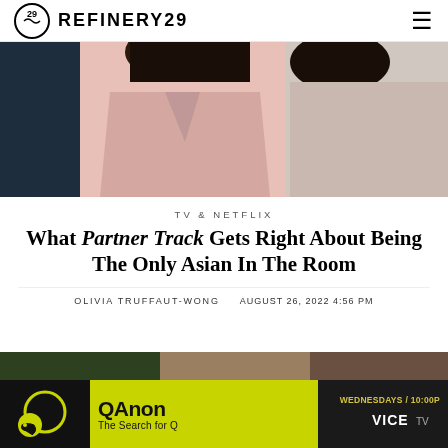REFINERY29
[Figure (photo): Hero image showing two people in formal attire - person on left in dark suit with tie, person in center/right in pink blazer, close-up view of their torsos]
TV & NETFLIX
What Partner Track Gets Right About Being The Only Asian In The Room
OLIVIA TRUFFAUT-WONG   AUGUST 26, 2022 4:56 PM
[Figure (photo): Bottom portion of page showing advertisement banner for QAnon: The Search for Q on VICE TV, Wednesdays at 10:00P, with yellow/lime green background, and partial photo below]
QAnon The Search for Q — WEDNESDAYS / 10:00P — VICE TV